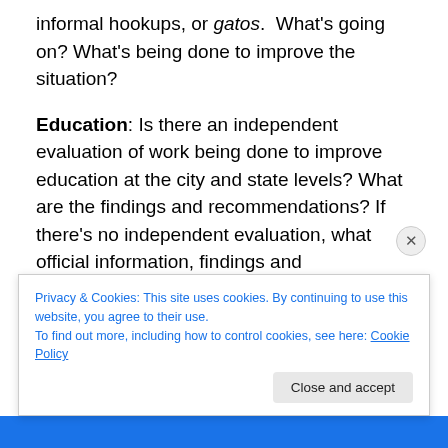informal hookups, or gatos.  What's going on? What's being done to improve the situation?
Education: Is there an independent evaluation of work being done to improve education at the city and state levels? What are the findings and recommendations? If there's no independent evaluation, what official information, findings and recommendations exist? What plans and budgets are in effect?
Health: Is there an independent evaluation of work being done to improve health care at the city and state levels?
Privacy & Cookies: This site uses cookies. By continuing to use this website, you agree to their use.
To find out more, including how to control cookies, see here: Cookie Policy